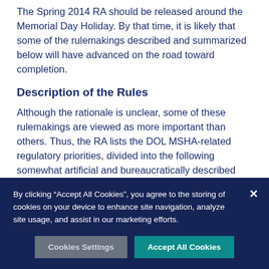The Spring 2014 RA should be released around the Memorial Day Holiday. By that time, it is likely that some of the rulemakings described and summarized below will have advanced on the road toward completion.
Description of the Rules
Although the rationale is unclear, some of these rulemakings are viewed as more important than others. Thus, the RA lists the DOL MSHA-related regulatory priorities, divided into the following somewhat artificial and bureaucratically described categories:
1) MSHA/Plan/Prevent/Protect Initiatives—
By clicking “Accept All Cookies”, you agree to the storing of cookies on your device to enhance site navigation, analyze site usage, and assist in our marketing efforts.